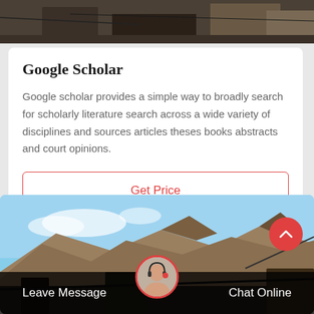[Figure (photo): Top portion of an industrial/mining site photo showing machinery and equipment, cropped at top of page]
Google Scholar
Google scholar provides a simple way to broadly search for scholarly literature search across a wide variety of disciplines and sources articles theses books abstracts and court opinions.
Get Price
[Figure (photo): Outdoor mountain/mining quarry landscape photo with rocky hills and industrial equipment under blue sky, with a scroll-up button (red circle with chevron) in the top-right corner]
Leave Message
Chat Online